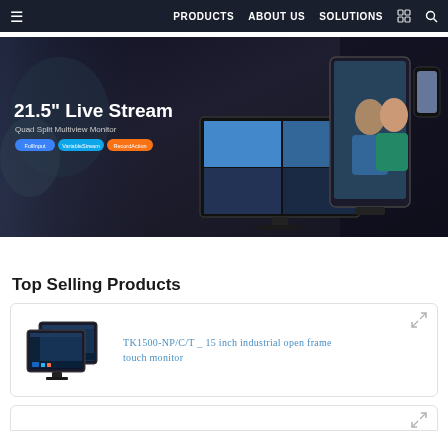PRODUCTS  ABOUT US  SOLUTIONS
[Figure (photo): Hero banner showing '21.5" Live Stream Quad Split Multiview Monitor' with badges for FullInput, VariableStream, RecordAction, displayed against a dark background with monitor and display product images]
Top Selling Products
[Figure (photo): Product thumbnail image of TK1500-NP/C/T 15 inch industrial open frame touch monitor showing two stacked monitors with Windows interface]
TK1500-NP/C/T _ 15 inch industrial open frame touch monitor
[Figure (other): Partial view of a second product card at the bottom of the page]